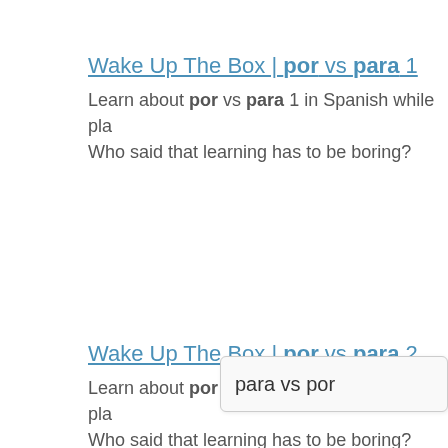Wake Up The Box | por vs para 1
Learn about por vs para 1 in Spanish while pla...Who said that learning has to be boring?
Wake Up The Box | por vs para 2
Learn about por vs para 2 in Spanish while pla...Who said that learning has to be boring?
para vs por